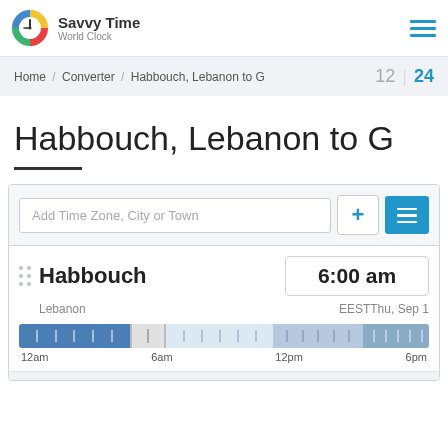[Figure (logo): Savvy Time World Clock logo with colorful clock SVG and brand name]
Home / Converter / Habbouch, Lebanon to G    12 | 24
Habbouch, Lebanon to G
[Figure (screenshot): World clock converter widget showing Add Time Zone search bar with plus and menu buttons, Habbouch city row showing 6:00 am, Lebanon, EEST, Thu Sep 1, and a 24-hour timeline bar with labels 12am, 6am, 12pm, 6pm]